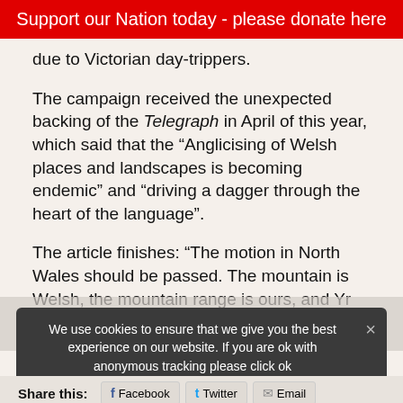Support our Nation today - please donate here
due to Victorian day-trippers.
The campaign received the unexpected backing of the Telegraph in April of this year, which said that the “Anglicising of Welsh places and landscapes is becoming endemic” and “driving a dagger through the heart of the language”.
The article finishes: “The motion in North Wales should be passed. The mountain is Welsh, the mountain range is ours, and Yr Wyddfa should be screamed from the rooftops.”
We use cookies to ensure that we give you the best experience on our website. If you are ok with anonymous tracking please click ok
Share this: